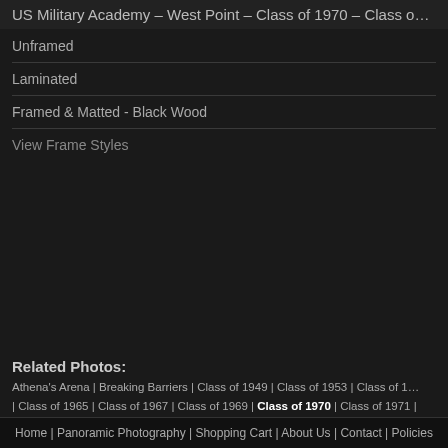US Military Academy – West Point – Class of 1970 – Class of…
Unframed
Laminated
Framed & Matted - Black Wood
View Frame Styles
Related Photos:
Athena's Arena | Breaking Barriers | Class of 1949 | Class of 1953 | Class of 1… | Class of 1965 | Class of 1967 | Class of 1969 | Class of 1970 | Class of 1971 | Class of 1978 | Class of 1979 | Class of 1980 | Class of 1981 | Class of 1982 | C… Class of 1991 | Class of 1992 | Class of 1993 | Class of 1994 | Class of 1995 | C… Class of 2002 | Class of 2003 | Class of 2004 | Class of 2005 | Class of 2006 | C…
RETURN
Home | Panoramic Photography | Shopping Cart | About Us | Contact | Policies